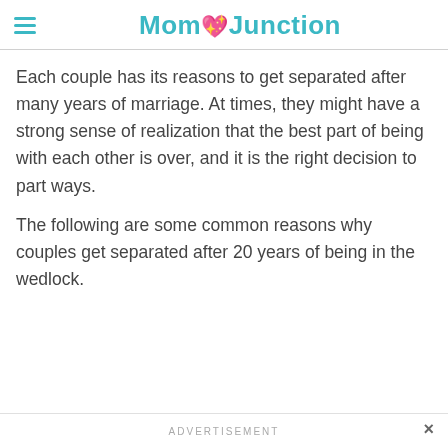MomJunction
Each couple has its reasons to get separated after many years of marriage. At times, they might have a strong sense of realization that the best part of being with each other is over, and it is the right decision to part ways.
The following are some common reasons why couples get separated after 20 years of being in the wedlock.
ADVERTISEMENT